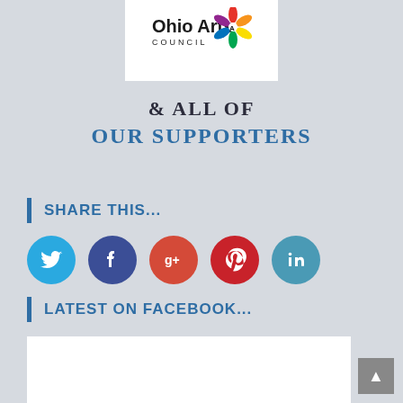[Figure (logo): Ohio Arts Council logo with colorful star/pinwheel icon]
& ALL OF
OUR SUPPORTERS
SHARE THIS...
[Figure (infographic): Social media sharing icons: Twitter (blue), Facebook (dark blue), Google+ (red-orange), Pinterest (red), LinkedIn (teal)]
LATEST ON FACEBOOK...
[Figure (screenshot): Facebook embed widget (white box)]